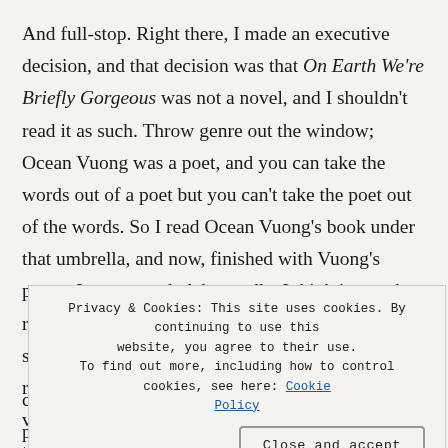And full-stop. Right there, I made an executive decision, and that decision was that On Earth We're Briefly Gorgeous was not a novel, and I shouldn't read it as such. Throw genre out the window; Ocean Vuong was a poet, and you can take the words out of a poet but you can't take the poet out of the words. So I read Ocean Vuong's book under that umbrella, and now, finished with Vuong's pages, I can say, wholeheartedly, I think it was the right choice. For in s[...] i r[...] n v[...] t[...] i[...]
Privacy & Cookies: This site uses cookies. By continuing to use this website, you agree to their use. To find out more, including how to control cookies, see here: Cookie Policy
Close and accept
corruption of that experience by way of time proceeding...